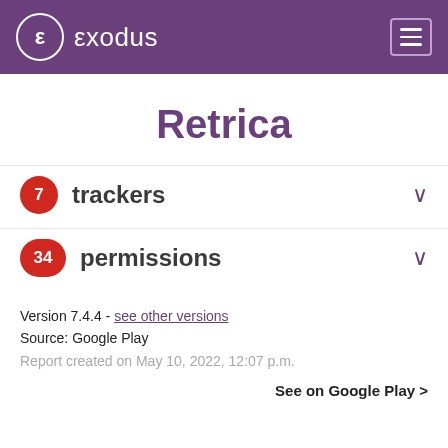εxodus
Retrica
7 trackers
34 permissions
Version 7.4.4 - see other versions
Source: Google Play
Report created on May 10, 2022, 12:07 p.m.
See on Google Play >